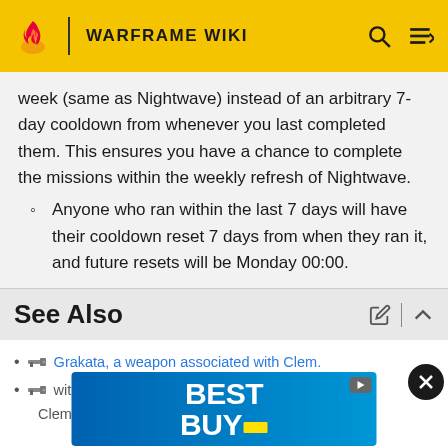WARFRAME WIKI
week (same as Nightwave) instead of an arbitrary 7-day cooldown from whenever you last completed them. This ensures you have a chance to complete the missions within the weekly refresh of Nightwave.
Anyone who ran within the last 7 days will have their cooldown reset 7 days from when they ran it, and future resets will be Monday 00:00.
See Also
Grakata, a weapon associated with Clem.
with Clem.
[Figure (screenshot): Best Buy advertisement banner overlay]